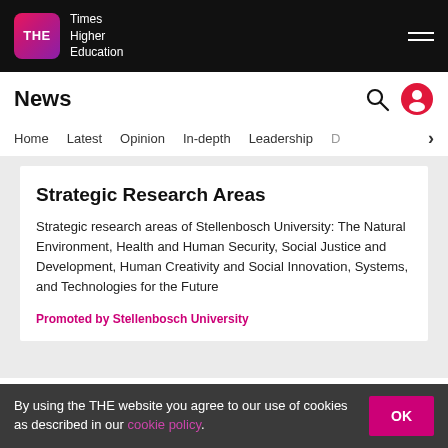Times Higher Education
News
Home  Latest  Opinion  In-depth  Leadership  D  >
Strategic Research Areas
Strategic research areas of Stellenbosch University: The Natural Environment, Health and Human Security, Social Justice and Development, Human Creativity and Social Innovation, Systems, and Technologies for the Future
Promoted by Stellenbosch University
By using the THE website you agree to our use of cookies as described in our cookie policy.